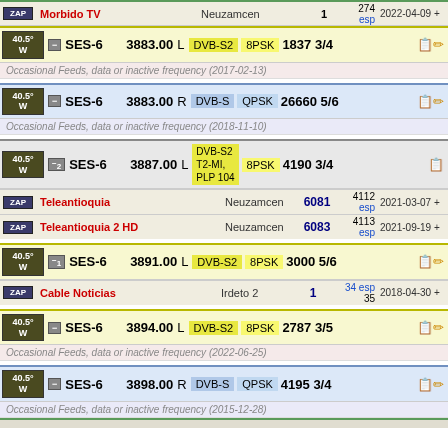| Channel | Encryption | SID | Num/ESP | Date |
| --- | --- | --- | --- | --- |
| Morbido TV | Neuzamcen |  | 274 esp / 1 | 2022-04-09 + |
| SES-6 @ 40.5W | 3883.00 L DVB-S2 8PSK |  | 1837 3/4 |  |
| Occasional Feeds, data or inactive frequency (2017-02-13) |  |  |  |  |
| SES-6 @ 40.5W | 3883.00 R DVB-S QPSK |  | 26660 5/6 |  |
| Occasional Feeds, data or inactive frequency (2018-11-10) |  |  |  |  |
| SES-6 @ 40.5W | 3887.00 L DVB-S2 T2-MI, PLP 104 8PSK |  | 4190 3/4 |  |
| Teleantioquia | Neuzamcen | 6081 | 4112 esp | 2021-03-07 + |
| Teleantioquia 2 HD | Neuzamcen | 6083 | 4113 esp | 2021-09-19 + |
| SES-6 @ 40.5W | 3891.00 L DVB-S2 8PSK |  | 3000 5/6 |  |
| Cable Noticias | Irdeto 2 | 1 | 34 esp / 35 | 2018-04-30 + |
| SES-6 @ 40.5W | 3894.00 L DVB-S2 8PSK |  | 2787 3/5 |  |
| Occasional Feeds, data or inactive frequency (2022-06-25) |  |  |  |  |
| SES-6 @ 40.5W | 3898.00 R DVB-S QPSK |  | 4195 3/4 |  |
| Occasional Feeds, data or inactive frequency (2015-12-28) |  |  |  |  |